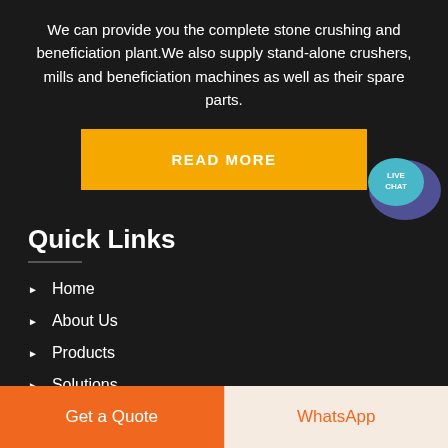We can provide you the complete stone crushing and beneficiation plant.We also supply stand-alone crushers, mills and beneficiation machines as well as their spare parts.
[Figure (other): Yellow READ MORE button]
[Figure (other): Live Chat speech bubble badge icon in top right corner]
Quick Links
Home
About Us
Products
Solutions
Get a Quote | WhatsApp